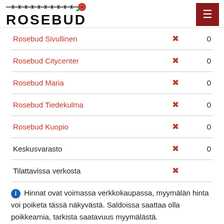ROSEBUD
| Location |  | Qty |
| --- | --- | --- |
| Rosebud Sivullinen | ✗ | 0 |
| Rosebud Citycenter | ✗ | 0 |
| Rosebud Maria | ✗ | 0 |
| Rosebud Tiedekulma | ✗ | 0 |
| Rosebud Kuopio | ✗ | 0 |
| Keskusvarasto | ✗ | 0 |
| Tilattavissa verkosta | ✗ |  |
Hinnat ovat voimassa verkkokaupassa, myymälän hinta voi poiketa tässä näkyvästä. Saldoissa saattaa olla poikkeamia, tarkista saatavuus myymälästä.